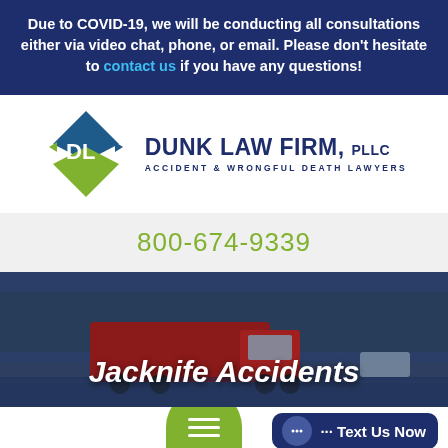Due to COVID-19, we will be conducting all consultations either via video chat, phone, or email. Please don't hesitate to contact us if you have any questions!
[Figure (logo): Dunk Law Firm, PLLC logo with diamond shape containing 'DL' letters, tagline: ACCIDENT & WRONGFUL DEATH LAWYERS]
800-674-9339
[Figure (photo): Hero image of a red semi-truck on a highway with dark blue overlay, with title 'Jacknife Accidents']
Jacknife Accidents
[Figure (screenshot): Bottom UI bar with green hamburger menu button and dark blue 'Text Us Now' button]